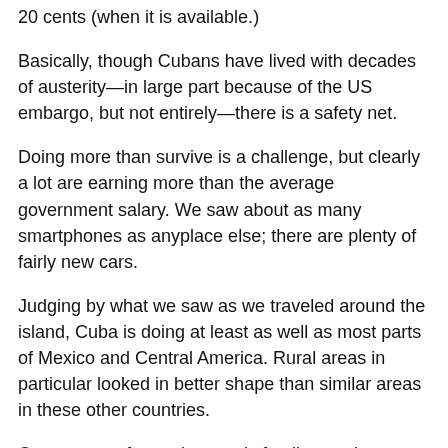20 cents (when it is available.)
Basically, though Cubans have lived with decades of austerity—in large part because of the US embargo, but not entirely—there is a safety net.
Doing more than survive is a challenge, but clearly a lot are earning more than the average government salary. We saw about as many smartphones as anyplace else; there are plenty of fairly new cars.
Judging by what we saw as we traveled around the island, Cuba is doing at least as well as most parts of Mexico and Central America. Rural areas in particular looked in better shape than similar areas in these other countries.
One source of extra income is family members working in other countries who send money back. And tourism is a major source of revenue, not just for the government but for individuals such as homeowners